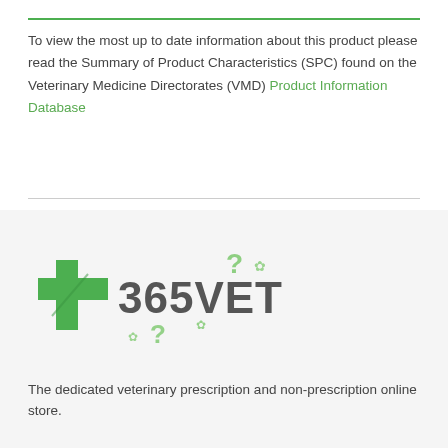To view the most up to date information about this product please read the Summary of Product Characteristics (SPC) found on the Veterinary Medicine Directorates (VMD) Product Information Database
[Figure (logo): 365VET logo with green plus sign and decorative paw prints and question marks]
The dedicated veterinary prescription and non-prescription online store.